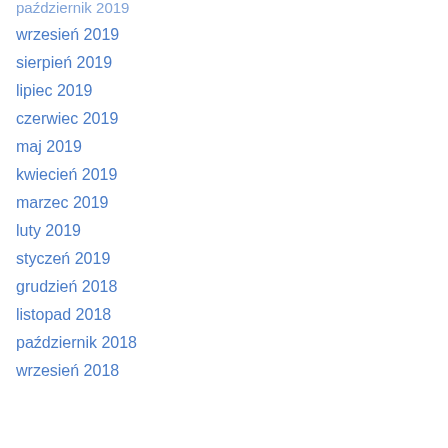październik 2019
wrzesień 2019
sierpień 2019
lipiec 2019
czerwiec 2019
maj 2019
kwiecień 2019
marzec 2019
luty 2019
styczeń 2019
grudzień 2018
listopad 2018
październik 2018
wrzesień 2018